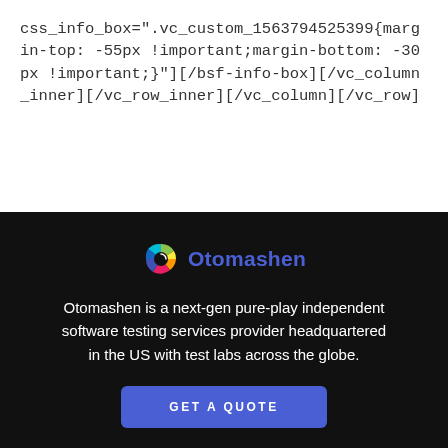css_info_box=".vc_custom_1563794525399{margin-top: -55px !important;margin-bottom: -30px !important;}"][/bsf-info-box][/vc_column_inner][/vc_row_inner][/vc_column][/vc_row]
[Figure (logo): Otomashen logo: colorful swirl icon with blue/green/yellow/orange/red gradient and the text 'Otomashen' in dark blue beside it]
Otomashen is a next-gen pure-play independent software testing services provider headquartered in the US with test labs across the globe.
GET A QUOTE